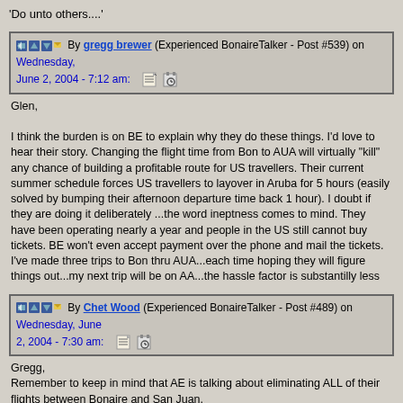'Do unto others....'
By gregg brewer (Experienced BonaireTalker - Post #539) on Wednesday, June 2, 2004 - 7:12 am:
Glen,

I think the burden is on BE to explain why they do these things. I'd love to hear their story. Changing the flight time from Bon to AUA will virtually "kill" any chance of building a profitable route for US travellers. Their current summer schedule forces US travellers to layover in Aruba for 5 hours (easily solved by bumping their afternoon departure time back 1 hour). I doubt if they are doing it deliberately ...the word ineptness comes to mind. They have been operating nearly a year and people in the US still cannot buy tickets. BE won't even accept payment over the phone and mail the tickets. I've made three trips to Bon thru AUA...each time hoping they will figure things out...my next trip will be on AA...the hassle factor is substantilly less
By Chet Wood (Experienced BonaireTalker - Post #489) on Wednesday, June 2, 2004 - 7:30 am:
Gregg,
Remember to keep in mind that AE is talking about eliminating ALL of their flights between Bonaire and San Juan.